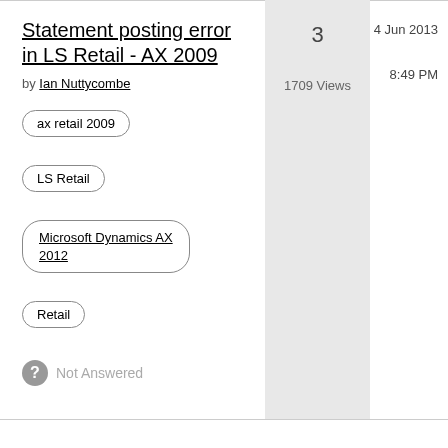Statement posting error in LS Retail - AX 2009
by Ian Nuttycombe
ax retail 2009
LS Retail
Microsoft Dynamics AX 2012
Retail
Not Answered
3
1709 Views
4 Jun 2013
8:49 PM